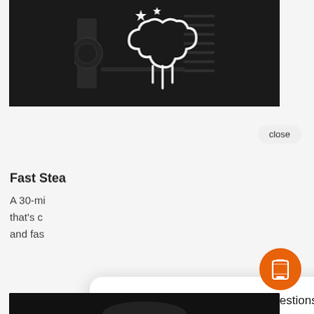[Figure (photo): Dark oven interior with white outline steam/cloud icon and sparkle diamonds overlay]
close
[Figure (infographic): Chat popup with power icon and text: Hi there, if you have questions or need help, text us here. Orange SMS button at bottom right.]
Fast Stea
A 30-mi
that's c
and fas
[Figure (photo): Bottom strip of dark oven image]